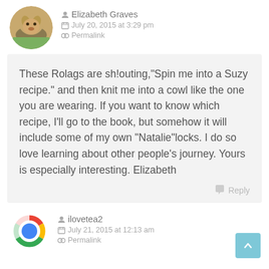[Figure (photo): Circular avatar photo of a golden dog lying on grass]
Elizabeth Graves
July 20, 2015 at 3:29 pm
Permalink
These Rolags are sh!outing,"Spin me into a Suzy recipe." and then knit me into a cowl like the one you are wearing. If you want to know which recipe, I'll go to the book, but somehow it will include some of my own "Natalie"locks. I do so love learning about other people's journey. Yours is especially interesting. Elizabeth
Reply
[Figure (logo): Chrome browser logo as circular avatar]
ilovetea2
July 21, 2015 at 12:13 am
Permalink